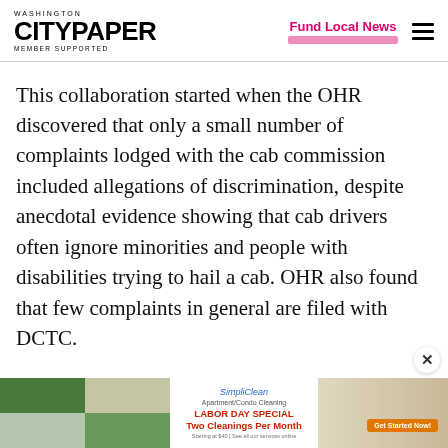Washington City Paper — MEMBER SUPPORTED | Fund Local News
This collaboration started when the OHR discovered that only a small number of complaints lodged with the cab commission included allegations of discrimination, despite anecdotal evidence showing that cab drivers often ignore minorities and people with disabilities trying to hail a cab. OHR also found that few complaints in general are filed with DCTC.
[Figure (photo): Advertisement banner for SimpliClean apartment/condo cleaning Labor Day Special with promotional images of cleaning and home interiors]